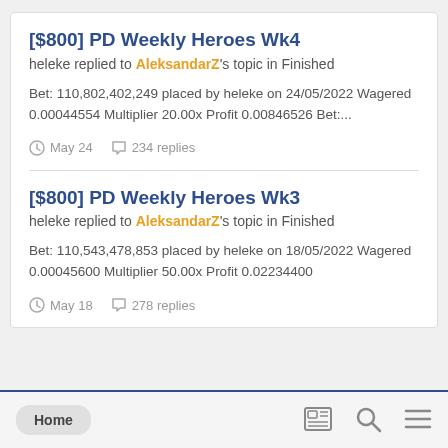[$800] PD Weekly Heroes Wk4
heleke replied to AleksandarZ's topic in Finished
Bet: 110,802,402,249 placed by heleke on 24/05/2022 Wagered 0.00044554 Multiplier 20.00x Profit 0.00846526 Bet:...
May 24  234 replies
[$800] PD Weekly Heroes Wk3
heleke replied to AleksandarZ's topic in Finished
Bet: 110,543,478,853 placed by heleke on 18/05/2022 Wagered 0.00045600 Multiplier 50.00x Profit 0.02234400
May 18  278 replies
Home